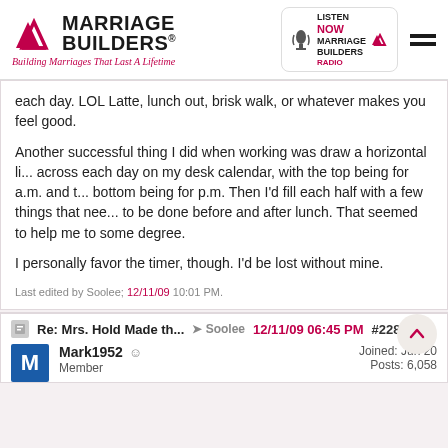[Figure (logo): Marriage Builders logo with two triangles and tagline 'Building Marriages That Last A Lifetime', plus Listen Now Marriage Builders Radio badge and hamburger menu]
each day. LOL Latte, lunch out, brisk walk, or whatever makes you feel good.
Another successful thing I did when working was draw a horizontal line across each day on my desk calendar, with the top being for a.m. and the bottom being for p.m. Then I'd fill each half with a few things that need to be done before and after lunch. That seemed to help me to some degree.
I personally favor the timer, though. I'd be lost without mine.
Last edited by Soolee; 12/11/09 10:01 PM.
Re: Mrs. Hold Made th... → Soolee 12/11/09 06:45 PM #2287
Mark1952   Member   Joined: Jun 20   Posts: 6,058